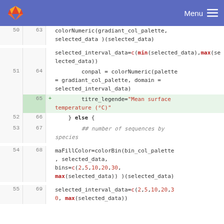GitLab Menu
Code diff view showing R code lines 50–55 (old) / 63–69 (new)
50 63  colorNumeric(gradiant_col_palette, selected_data )(selected_data)
selected_interval_data=c(min(selected_data),max(selected_data))
51 64      conpal = colorNumeric(palette = gradiant_col_palette, domain = selected_interval_data)
+  65      titre_legende="Mean surface temperature (°C)"
52 66    } else {
53 67      ## number of sequences by species
54 68  maFillColor=colorBin(bin_col_palette, selected_data, bins=c(2,5,10,20,30, max(selected_data)) )(selected_data)
55 69  selected_interval_data=c(2,5,10,20,30, max(selected_data))